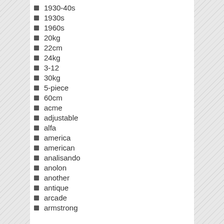1930-40s
1930s
1960s
20kg
22cm
24kg
3-12
30kg
5-piece
60cm
acme
adjustable
alfa
america
american
analisando
anolon
another
antique
arcade
armstrong